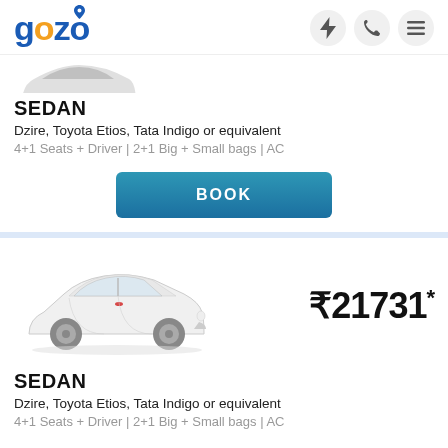gozo
[Figure (photo): Partial view of a white sedan car (top portion cut off) shown from the side]
SEDAN
Dzire, Toyota Etios, Tata Indigo or equivalent
4+1 Seats + Driver | 2+1 Big + Small bags | AC
BOOK
[Figure (photo): White Toyota Etios sedan shown from the front-left three-quarter angle]
₹21731*
SEDAN
Dzire, Toyota Etios, Tata Indigo or equivalent
4+1 Seats + Driver | 2+1 Big + Small bags | AC